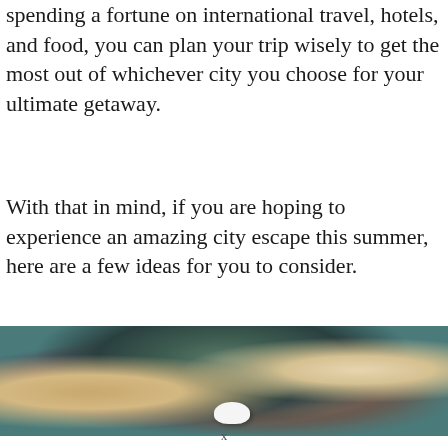spending a fortune on international travel, hotels, and food, you can plan your trip wisely to get the most out of whichever city you choose for your ultimate getaway.
With that in mind, if you are hoping to experience an amazing city escape this summer, here are a few ideas for you to consider.
[Figure (photo): Aerial view of a rocky coastal or mountainous landscape with dark mottled terrain, sandy/orange areas on the sides, and a small white object visible near the center-bottom.]
x